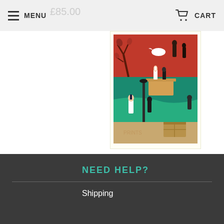MENU  £85.00  CART
[Figure (illustration): Colourful illustrated book cover showing scenes of people in a park or historical setting, with teal/green grass areas, red upper portion with decorative tree, and figures including a woman in white dress and silhouetted characters]
A Find of Incredible Historical Significance - Variant
£85.00
.
NEED HELP?
Shipping